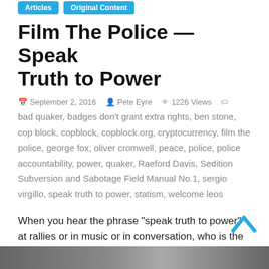Articles  Original Content
Film The Police — Speak Truth to Power
September 2, 2016  Pete Eyre  1226 Views  bad quaker, badges don't grant extra rights, ben stone, cop block, copblock, copblock.org, cryptocurrency, film the police, george fox, oliver cromwell, peace, police, police accountability, power, quaker, Raeford Davis, Sedition Subversion and Sabotage Field Manual No.1, sergio virgillo, speak truth to power, statism, welcome leos
When you hear the phrase “speak truth to power” at rallies or in music or in conversation, who is the
Read more
[Figure (photo): Bottom strip showing a partial image, mostly dark/grey tones]